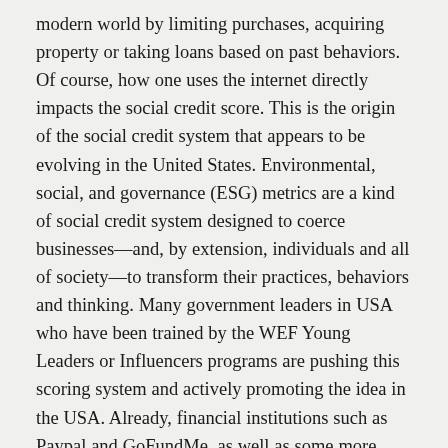modern world by limiting purchases, acquiring property or taking loans based on past behaviors. Of course, how one uses the internet directly impacts the social credit score. This is the origin of the social credit system that appears to be evolving in the United States. Environmental, social, and governance (ESG) metrics are a kind of social credit system designed to coerce businesses—and, by extension, individuals and all of society—to transform their practices, behaviors and thinking. Many government leaders in USA who have been trained by the WEF Young Leaders or Influencers programs are pushing this scoring system and actively promoting the idea in the USA. Already, financial institutions such as Paypal and GoFundMe, as well as some more mainstream banking systems, are actively deciding who can use their services based on a social credit scoring system (Haskins, 2022).